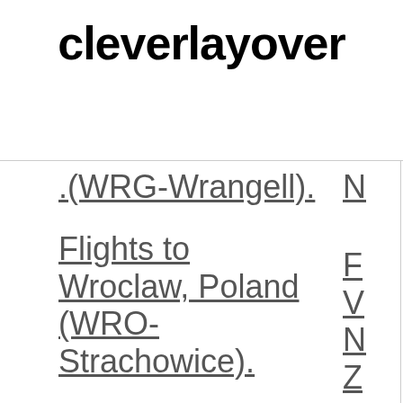cleverlayover
(WRG-Wrangell)
Flights to Wroclaw, Poland (WRO-Strachowice)